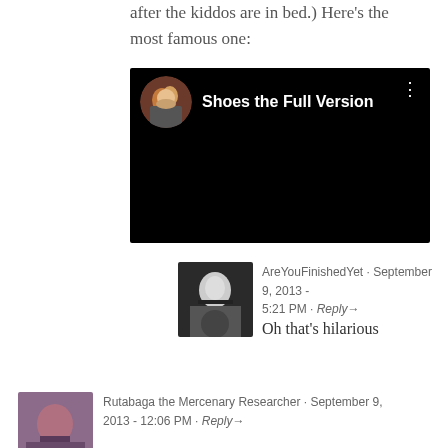after the kiddos are in bed.) Here’s the most famous one:
[Figure (screenshot): Embedded video player with black background showing 'Shoes the Full Version' title with circular avatar thumbnail on the left and three-dot menu icon on the right]
AreYouFinishedYet · September 9, 2013 - 5:21 PM · Reply→
Oh that’s hilarious
Rutabaga the Mercenary Researcher · September 9, 2013 - 12:06 PM · Reply→